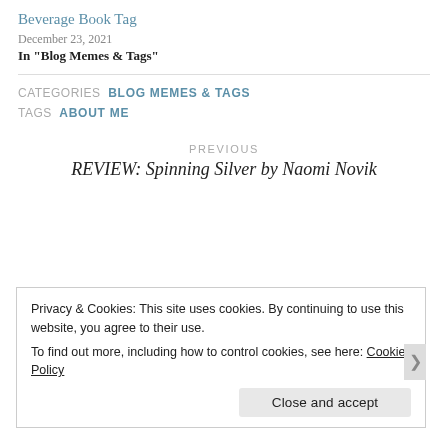Beverage Book Tag
December 23, 2021
In "Blog Memes & Tags"
CATEGORIES  BLOG MEMES & TAGS
TAGS  ABOUT ME
PREVIOUS
REVIEW: Spinning Silver by Naomi Novik
Privacy & Cookies: This site uses cookies. By continuing to use this website, you agree to their use.
To find out more, including how to control cookies, see here: Cookie Policy
Close and accept